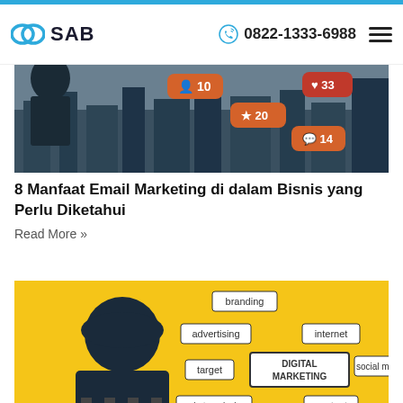SAB | 0822-1333-6988
[Figure (photo): Social media notification bubbles over a city skyline — icons showing follower count 10, likes 33, stars 20, comments 14]
8 Manfaat Email Marketing di dalam Bisnis yang Perlu Diketahui
Read More »
[Figure (photo): Digital marketing concept image on yellow background showing a woman in hijab with word cloud including: branding, advertising, internet, target, DIGITAL MARKETING, social media, market analysis, content, product]